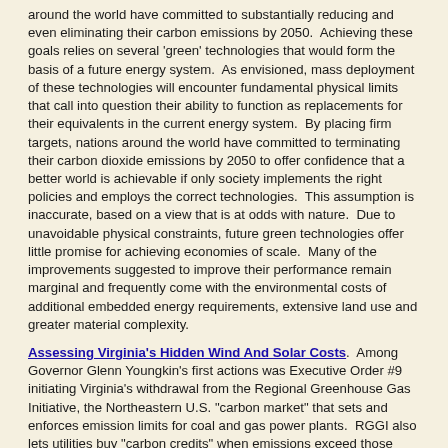around the world have committed to substantially reducing and even eliminating their carbon emissions by 2050.  Achieving these goals relies on several 'green' technologies that would form the basis of a future energy system.  As envisioned, mass deployment of these technologies will encounter fundamental physical limits that call into question their ability to function as replacements for their equivalents in the current energy system.  By placing firm targets, nations around the world have committed to terminating their carbon dioxide emissions by 2050 to offer confidence that a better world is achievable if only society implements the right policies and employs the correct technologies.  This assumption is inaccurate, based on a view that is at odds with nature.  Due to unavoidable physical constraints, future green technologies offer little promise for achieving economies of scale.  Many of the improvements suggested to improve their performance remain marginal and frequently come with the environmental costs of additional embedded energy requirements, extensive land use and greater material complexity.
Assessing Virginia's Hidden Wind And Solar Costs.  Among Governor Glenn Youngkin's first actions was Executive Order #9 initiating Virginia's withdrawal from the Regional Greenhouse Gas Initiative, the Northeastern U.S. "carbon market" that sets and enforces emission limits for coal and gas power plants.  RGGI also lets utilities buy "carbon credits" when emissions exceed those limits, passing costs on to families, businesses, hospitals and schools.  Special interests will contest withdrawal, but the EO sets the proper tone for reforming Virginia's energy system.  Meanwhile, though, the 2020 "Virginia Clean Economy Act" still requires that utility companies close all fossil fuel generating plants — and replace them with wind and solar power by 2045.  The VCEA also